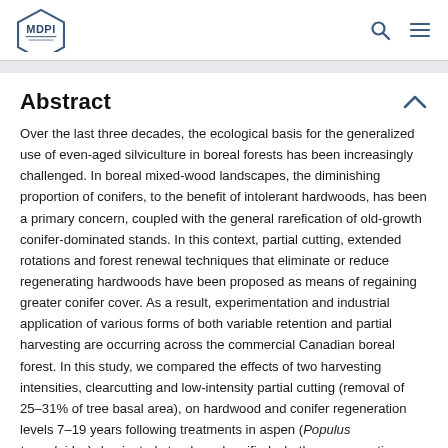MDPI
Abstract
Over the last three decades, the ecological basis for the generalized use of even-aged silviculture in boreal forests has been increasingly challenged. In boreal mixed-wood landscapes, the diminishing proportion of conifers, to the benefit of intolerant hardwoods, has been a primary concern, coupled with the general rarefication of old-growth conifer-dominated stands. In this context, partial cutting, extended rotations and forest renewal techniques that eliminate or reduce regenerating hardwoods have been proposed as means of regaining greater conifer cover. As a result, experimentation and industrial application of various forms of both variable retention and partial harvesting are occurring across the commercial Canadian boreal forest. In this study, we compared the effects of two harvesting intensities, clearcutting and low-intensity partial cutting (removal of 25–31% of tree basal area), on hardwood and conifer regeneration levels 7–19 years following treatments in aspen (Populus tremuloides)-dominated stands and verified whether regeneration differences